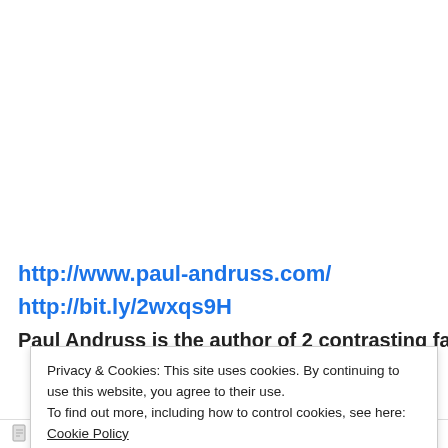http://www.paul-andruss.com/
http://bit.ly/2wxqs9H
Paul Andruss is the author of 2 contrasting fantasy
Privacy & Cookies: This site uses cookies. By continuing to use this website, you agree to their use.
To find out more, including how to control cookies, see here: Cookie Policy
Close and accept